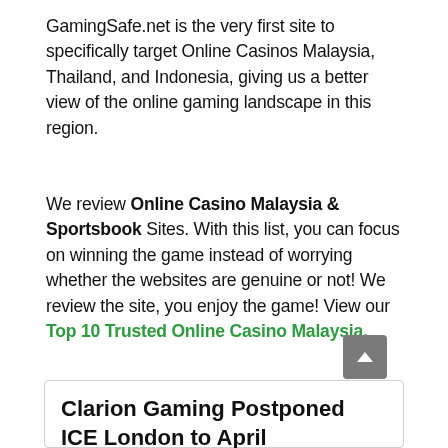GamingSafe.net is the very first site to specifically target Online Casinos Malaysia, Thailand, and Indonesia, giving us a better view of the online gaming landscape in this region.
We review Online Casino Malaysia & Sportsbook Sites. With this list, you can focus on winning the game instead of worrying whether the websites are genuine or not! We review the site, you enjoy the game! View our Top 10 Trusted Online Casino Malaysia.
Clarion Gaming Postponed ICE London to April
[Figure (photo): Photo of a large modern building/exhibition center exterior with blue sky and clouds in the background]
Organizer Clarion Gaming has confirmed new dates for this year's ICE London with